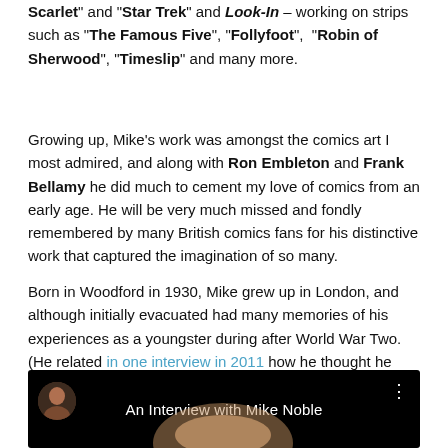Scarlet" and "Star Trek" and Look-In – working on strips such as "The Famous Five", "Follyfoot", "Robin of Sherwood", "Timeslip" and many more.
Growing up, Mike's work was amongst the comics art I most admired, and along with Ron Embleton and Frank Bellamy he did much to cement my love of comics from an early age. He will be very much missed and fondly remembered by many British comics fans for his distinctive work that captured the imagination of so many.
Born in Woodford in 1930, Mike grew up in London, and although initially evacuated had many memories of his experiences as a youngster during after World War Two. (He related in one interview in 2011 how he thought he avoided becoming the victim of a V1 bomb).
[Figure (screenshot): Embedded video thumbnail titled 'An Interview with Mike Noble' with dark background, showing a small avatar/profile image on the left and a man's face visible in the lower center.]